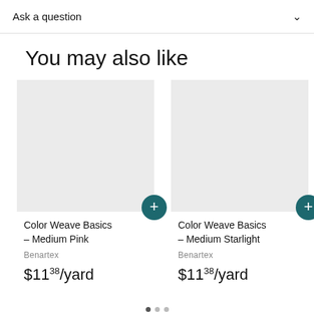Ask a question
You may also like
Color Weave Basics - Medium Pink
Benartex
$11.38/yard
Color Weave Basics - Medium Starlight
Benartex
$11.38/yard
Color - Fuc
Benart
$11.38/yard